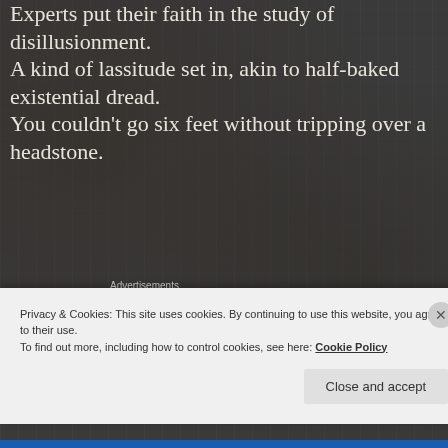Experts put their faith in the study of disillusionment.
A kind of lassitude set in, akin to half-baked existential dread.
You couldn't go six feet without tripping over a headstone.
Advertisements
[Figure (other): WordPress advertisement banner: 'Need a website quickly – and on a budget?' with WordPress logo on beige background]
Privacy & Cookies: This site uses cookies. By continuing to use this website, you agree to their use.
To find out more, including how to control cookies, see here: Cookie Policy
Close and accept